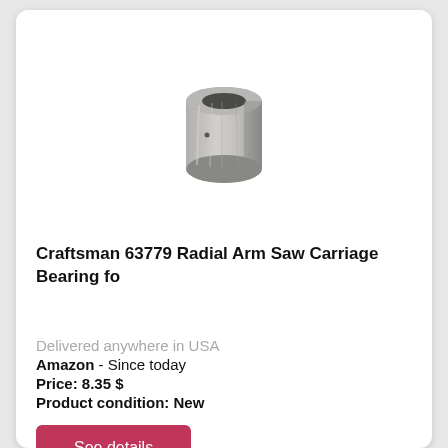[Figure (photo): A small cylindrical metal bearing/bushing, silver-gray in color, viewed at a slight angle showing the hollow interior.]
Craftsman 63779 Radial Arm Saw Carriage Bearing fo
Delivered anywhere in USA
Amazon  - Since today
Price: 8.35 $
Product condition: New
See details